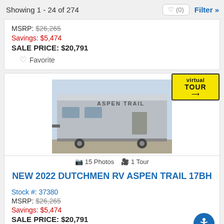Showing 1 - 24 of 274
MSRP: $26,265
Savings: $5,474
SALE PRICE: $20,791
Favorite
[Figure (photo): Photo of a travel trailer / RV labeled ASPEN TRAIL, parked outdoors under blue sky]
15 Photos   1 Tour
NEW 2022 DUTCHMEN RV ASPEN TRAIL 17BH
Stock #: 37380
MSRP: $26,265
Savings: $5,474
SALE PRICE: $20,791
Favorite